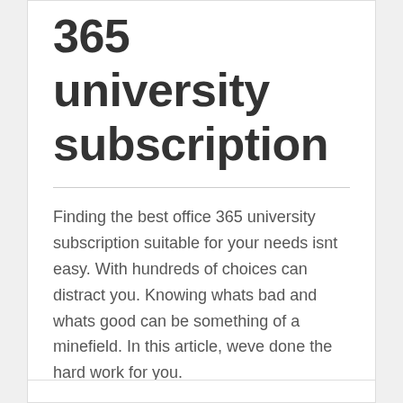365 university subscription
Finding the best office 365 university subscription suitable for your needs isnt easy. With hundreds of choices can distract you. Knowing whats bad and whats good can be something of a minefield. In this article, weve done the hard work for you.
Posted On : November 1, 2018   Published By : May Murphy